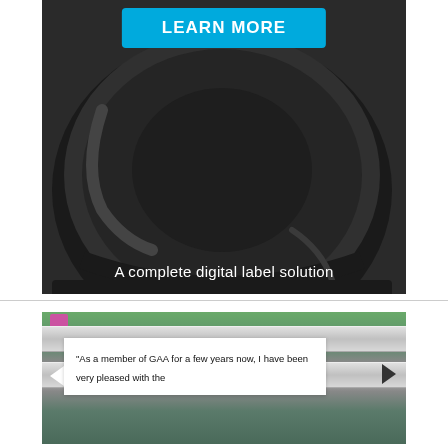[Figure (illustration): Advertisement banner with cyan 'LEARN MORE' button at top, dark circular drum/roll graphic in center, and white text 'A complete digital label solution' at the bottom on dark background]
[Figure (photo): Industrial printing machine with horizontal silver bars/rails, green foliage visible at top, and a white quote box overlay reading: "As a member of GAA for a few years now, I have been very pleased with the"]